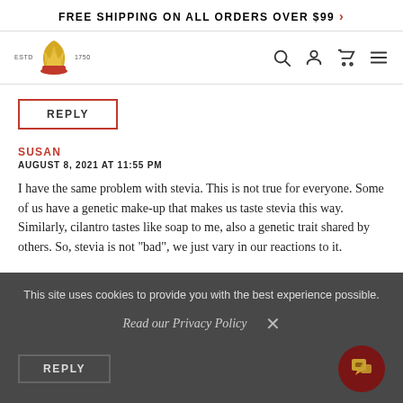FREE SHIPPING ON ALL ORDERS OVER $99 >
[Figure (logo): Crown/wheat logo with ESTD 1750 text and navigation icons (search, account, cart, menu)]
REPLY
SUSAN
AUGUST 8, 2021 AT 11:55 PM
I have the same problem with stevia. This is not true for everyone. Some of us have a genetic make-up that makes us taste stevia this way. Similarly, cilantro tastes like soap to me, also a genetic trait shared by others. So, stevia is not "bad", we just vary in our reactions to it.
REPLY
This site uses cookies to provide you with the best experience possible.
Read our Privacy Policy